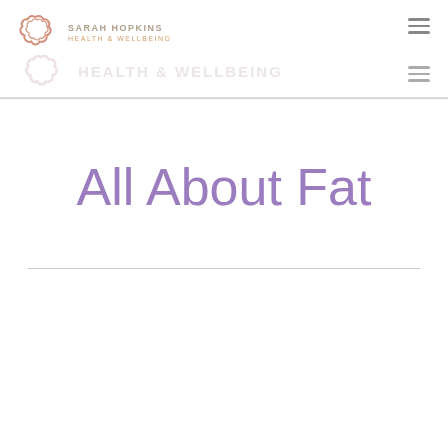Sarah Hopkins Health & Wellbeing
All About Fat